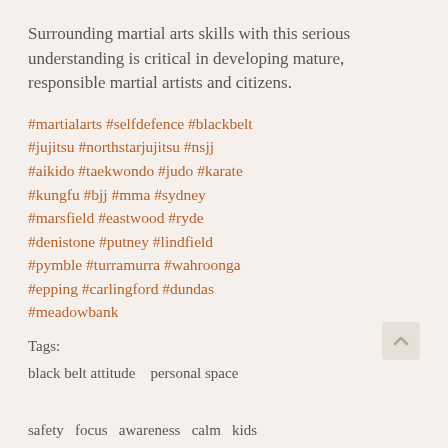Surrounding martial arts skills with this serious understanding is critical in developing mature, responsible martial artists and citizens.
#martialarts #selfdefence #blackbelt #jujitsu #northstarjujitsu #nsjj #aikido #taekwondo #judo #karate #kungfu #bjj #mma #sydney #marsfield #eastwood #ryde #denistone #putney #lindfield #pymble #turramurra #wahroonga #epping #carlingford #dundas #meadowbank
Tags:
black belt attitude   personal space
safety   focus   awareness   calm   kids